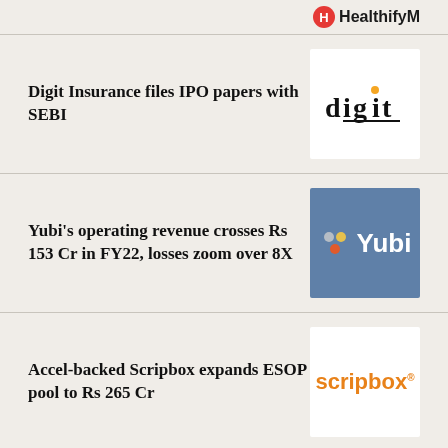[Figure (logo): HealthifyMe logo partial at top right]
Digit Insurance files IPO papers with SEBI
[Figure (logo): Digit Insurance logo]
Yubi's operating revenue crosses Rs 153 Cr in FY22, losses zoom over 8X
[Figure (logo): Yubi logo on blue background]
Accel-backed Scripbox expands ESOP pool to Rs 265 Cr
[Figure (logo): Scripbox logo]
Indifi's revenue nears Rs 100 Cr in FY22 while losses shrink 10%
[Figure (logo): Indifi logo partial at bottom]